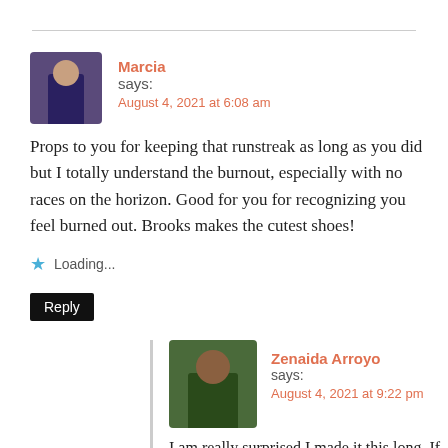Marcia says: August 4, 2021 at 6:08 am
Props to you for keeping that runstreak as long as you did but I totally understand the burnout, especially with no races on the horizon. Good for you for recognizing you feel burned out. Brooks makes the cutest shoes!
Loading...
Reply
Zenaida Arroyo says: August 4, 2021 at 9:22 pm
I am really surprised I made it this long. If I can make it through February which was the most difficult month, then I can make it 3 more weeks. I am glad that right now I am running for